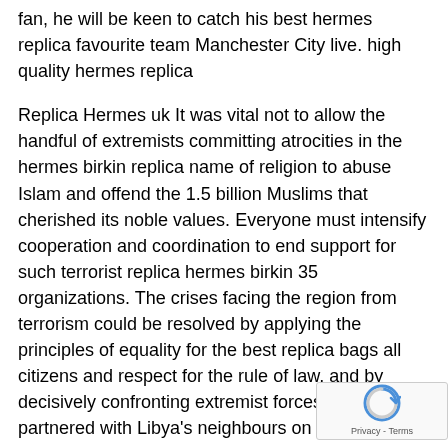fan, he will be keen to catch his best hermes replica favourite team Manchester City live. high quality hermes replica
Replica Hermes uk It was vital not to allow the handful of extremists committing atrocities in the hermes birkin replica name of religion to abuse Islam and offend the 1.5 billion Muslims that cherished its noble values. Everyone must intensify cooperation and coordination to end support for such terrorist replica hermes birkin 35 organizations. The crises facing the region from terrorism could be resolved by applying the principles of equality for the best replica bags all citizens and respect for the rule of law, and by decisively confronting extremist forces.Egypt had partnered with Libya's neighbours on an initiative to end terrorism and bloodshed in Libya, help strengthen elected Libyan birkin bag replica institutions and preserve territorial integrity, he said. Replica Hermes uk
high quality Replica Hermes The meantime, the actor is turning his attention to a trilogy in the literary domain with his debut novel of God (Harper Voyager). The urban fantasy centres around Lauryn Jefferson, a hermes sandals replica young doctor grappling with a baffling crisis: a sulphur birkin replica laced drug high quality replica bags is transforming individuals into demons. She teams with spiritual warrior Talon